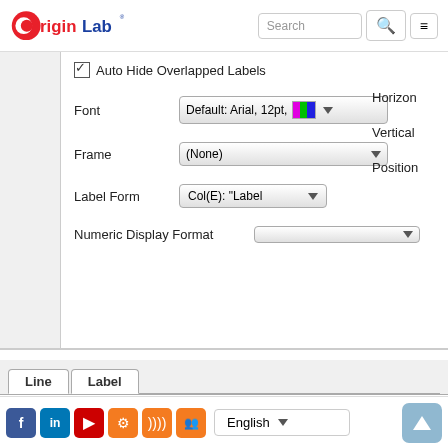OriginLab [logo] Search
Auto Hide Overlapped Labels
Font   Default: Arial, 12pt,  [color]
Horizon
Frame   (None)
Vertical
Label Form   Col(E): "Label
Position
Numeric Display Format
Line | Label tabs
Enable
Show Label for Leaves Only
Auto Hide Overlapped Labels
Facebook LinkedIn YouTube Settings RSS Group | English | Up